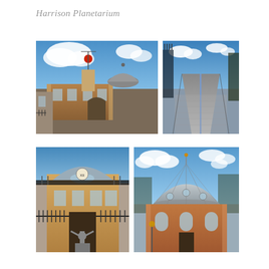Harrison Planetarium
[Figure (photo): Photograph of the Royal Observatory Greenwich building with red time ball on top of the tower, brick facade, dome, and blue sky with clouds]
[Figure (photo): Photograph of a paved path with metal rails or meridian line running through the center, flanked by fence posts, under blue sky]
[Figure (photo): Photograph of a stone building facade with arched entrance, statue in front, ornate ironwork railing, and a clock above the arch]
[Figure (photo): Photograph of a circular domed observatory building with silver metallic dome, brick exterior, arched windows, and trees in background under cloudy sky]